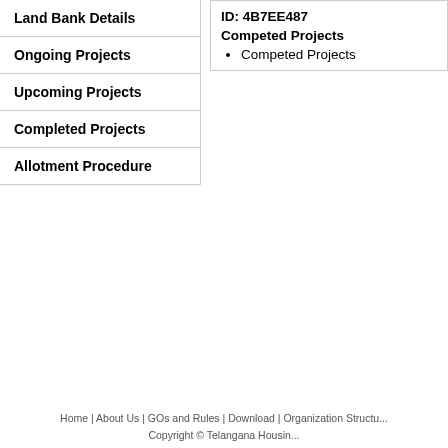Land Bank Details
Ongoing Projects
Upcoming Projects
Completed Projects
Allotment Procedure
ID: 4B7EE487
Competed Projects
Competed Projects
Home | About Us | GOs and Rules | Download | Organization Structu...
Copyright © Telangana Housin...